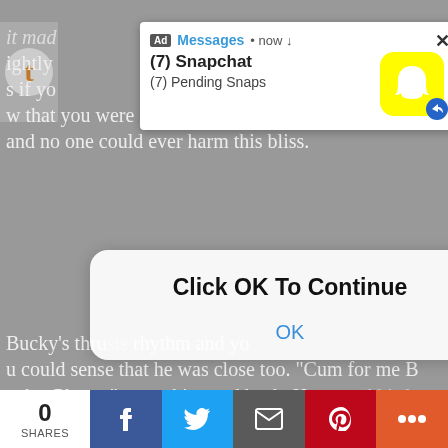[Figure (screenshot): Screenshot of a webpage with overlapping UI elements: an orange header bar, article text in white on grey background, a Snapchat advertisement notification popup (showing 'Ad Messages • now ↓', '(7) Snapchat', '(7) Pending Snaps' with Snapchat logo), an 'Click OK To Continue' dialog box with an OK button, article text reading 'Bucky's thrusts... bliss.' and 'You nuzzled...', and a social share bar at the bottom with 0 SHARES, Facebook, Twitter, Email, Pinterest, and More buttons.]